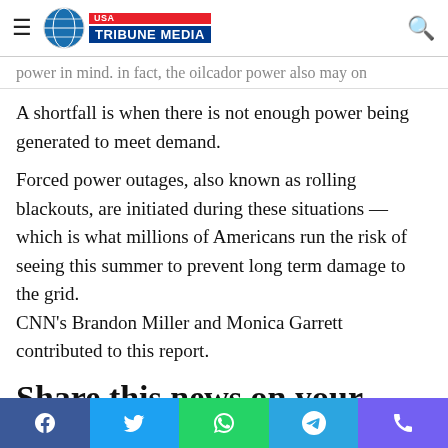USA TRIBUNE MEDIA
power in mind. in fact, the oilcador power also may on
A shortfall is when there is not enough power being generated to meet demand.
Forced power outages, also known as rolling blackouts, are initiated during these situations — which is what millions of Americans run the risk of seeing this summer to prevent long term damage to the grid. CNN's Brandon Miller and Monica Garrett contributed to this report.
Share this news on your Fb,Twitter and Whatsapp
[Figure (infographic): Social share bar with icons for Facebook, Twitter, WhatsApp, Telegram, and Viber]